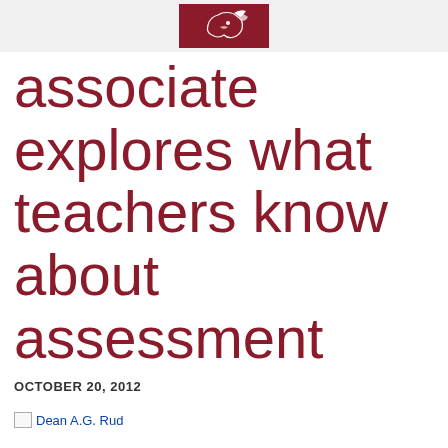[Figure (logo): WSU Cougar logo on dark red/maroon background in page header bar]
associate explores what teachers know about assessment
OCTOBER 20, 2012
[Figure (photo): Broken image placeholder labeled Dean A.G. Rud]